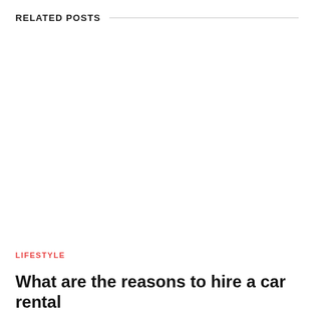RELATED POSTS
[Figure (photo): Image placeholder area for related post thumbnail]
LIFESTYLE
What are the reasons to hire a car rental